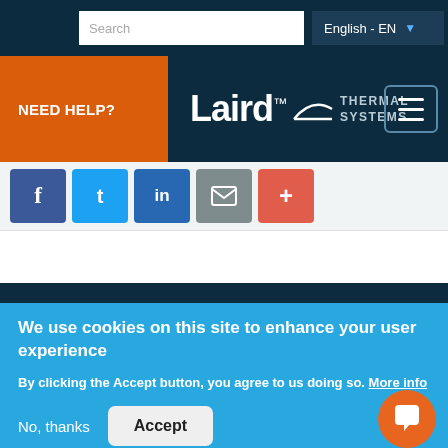Search | English - EN
[Figure (logo): Laird Thermal Systems logo with NEED HELP? button and hamburger menu]
[Figure (infographic): Social share buttons: Facebook, Twitter, LinkedIn, Email, More (+)]
We use cookies on this site to enhance your user experience
By clicking the Accept button, you agree to us doing so. More info
No, thanks
Accept